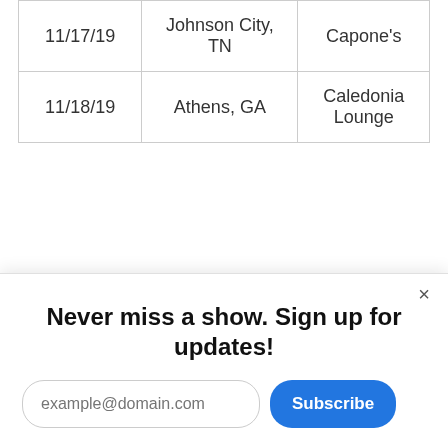| Date | City | Venue |
| --- | --- | --- |
| 11/17/19 | Johnson City, TN | Capone's |
| 11/18/19 | Athens, GA | Caledonia Lounge |
Torche Tickets
Tickets to Torche's tour are on sale now. Shopping
Never miss a show. Sign up for updates!
example@domain.com
Subscribe